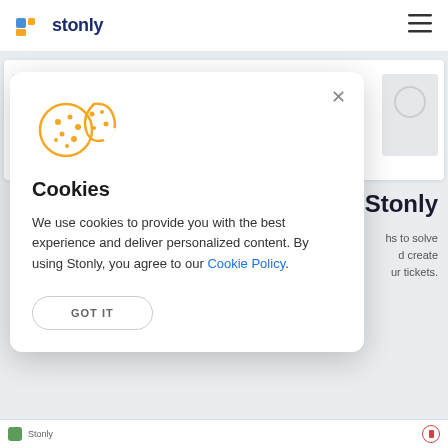stonly
[Figure (screenshot): Background website content partially visible behind cookie consent modal. Shows a Stonly webpage with logo, navigation hamburger menu, and partial text content.]
Cookies
We use cookies to provide you with the best experience and deliver personalized content. By using Stonly, you agree to our Cookie Policy.
GOT IT